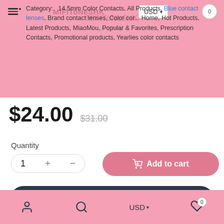[Figure (screenshot): Pink website header with navigation overlay showing hamburger menu, logo text 'MiFiToNeSHK', USD currency selector dropdown, and cart icon with badge]
Category: 14.5mm Color Contacts, All Products, Blue contact lenses, Brand contact lenses, Color contact lenses, Home, Hot Products, Latest Products, MiaoMou, Popular, Favorites, Prescription Contacts, Promotional products, Yearlies color contacts
$24.00  $31.00
Quantity
1  +  -
Add to cart
Buy It Now
Description  Shipping & Returns  Wear &